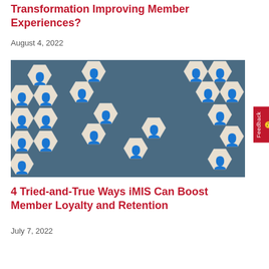Transformation Improving Member Experiences?
August 4, 2022
[Figure (photo): Wooden hexagonal tiles each depicting a human figure silhouette in various colors (brown, red, pink, orange, yellow) arranged on a blue surface, representing diverse members or people.]
4 Tried-and-True Ways iMIS Can Boost Member Loyalty and Retention
July 7, 2022